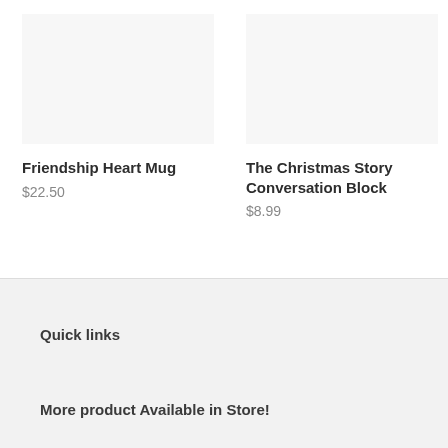[Figure (photo): Product image placeholder for Friendship Heart Mug]
Friendship Heart Mug
$22.50
[Figure (photo): Product image placeholder for The Christmas Story Conversation Block]
The Christmas Story Conversation Block
$8.99
Quick links
More product Available in Store!